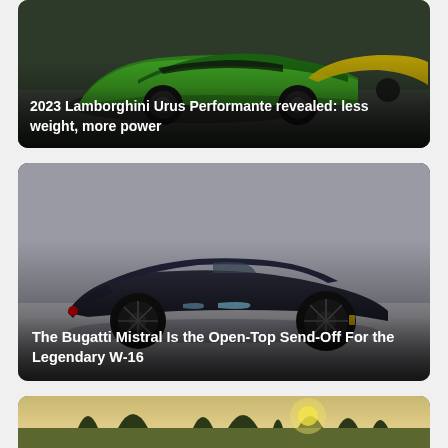[Figure (photo): Photo of a green Lamborghini Urus Performante SUV with a yellow one in the background, in a studio setting]
2023 Lamborghini Urus Performante revealed: less weight, more power
[Figure (photo): Photo of a dark navy/black Bugatti Mistral open-top roadster on a studio floor]
The Bugatti Mistral Is the Open-Top Send-Off For the Legendary W-16
[Figure (photo): Partial photo of a car in a natural outdoor setting with trees and sunlight]